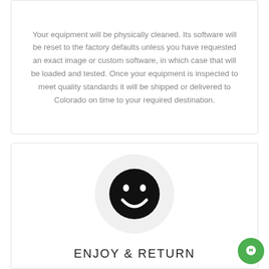Your equipment will be physically cleaned. Its software will be reset to the factory defaults unless you have requested an exact image or custom software, in which case that will be loaded and tested. Once your equipment is inspected to meet quality standards it will be shipped or delivered to Colorado on time to your required destination.
[Figure (illustration): A smiley face icon (black circle with white eyes and a smile) inside a light grey circular background]
ENJOY & RETURN